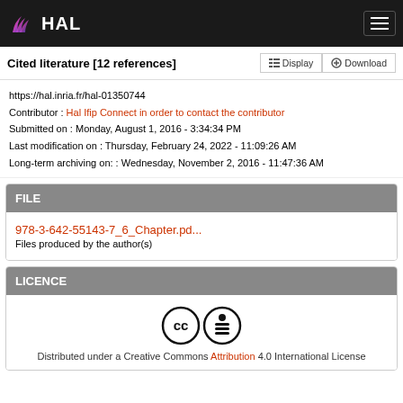HAL
Cited literature [12 references]
https://hal.inria.fr/hal-01350744
Contributor : Hal Ifip Connect in order to contact the contributor
Submitted on : Monday, August 1, 2016 - 3:34:34 PM
Last modification on : Thursday, February 24, 2022 - 11:09:26 AM
Long-term archiving on: : Wednesday, November 2, 2016 - 11:47:36 AM
FILE
978-3-642-55143-7_6_Chapter.pd...
Files produced by the author(s)
LICENCE
[Figure (logo): Creative Commons Attribution license icons: CC and BY symbols]
Distributed under a Creative Commons Attribution 4.0 International License